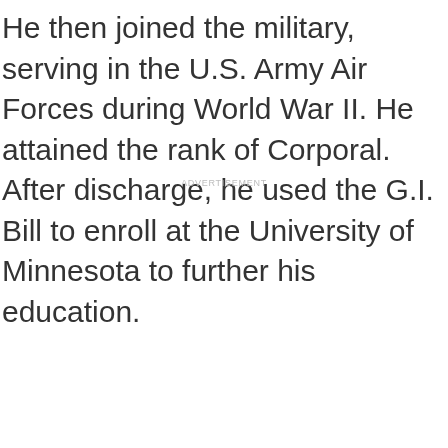He then joined the military, serving in the U.S. Army Air Forces during World War II. He attained the rank of Corporal. After discharge, he used the G.I. Bill to enroll at the University of Minnesota to further his education.
ADVERTISEMENT